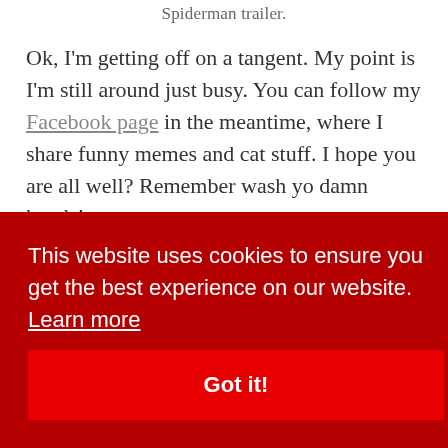Spiderman trailer.
Ok, I'm getting off on a tangent. My point is I'm still around just busy. You can follow my Facebook page in the meantime, where I share funny memes and cat stuff. I hope you are all well? Remember wash yo damn hands!
This website uses cookies to ensure you get the best experience on our website. Learn more
Got it!